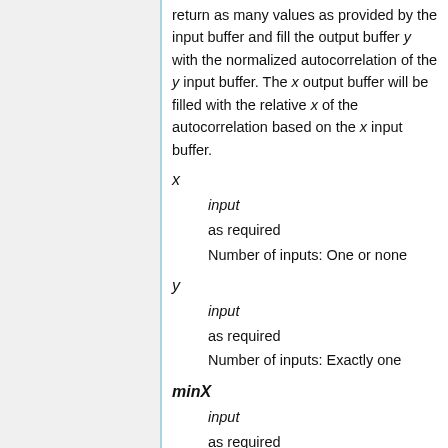return as many values as provided by the input buffer and fill the output buffer y with the normalized autocorrelation of the y input buffer. The x output buffer will be filled with the relative x of the autocorrelation based on the x input buffer.
x
input
as required
Number of inputs: One or none
y
input
as required
Number of inputs: Exactly one
minX
input
as required
Number of inputs: One or none